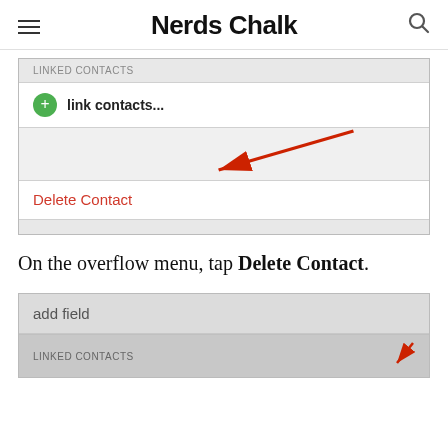Nerds Chalk
[Figure (screenshot): iOS Contacts app screenshot showing LINKED CONTACTS section with 'link contacts...' option and 'Delete Contact' button in red, with a red arrow pointing to the Delete Contact option.]
On the overflow menu, tap Delete Contact.
[Figure (screenshot): iOS Contacts app screenshot showing 'add field' row and LINKED CONTACTS section header, partially visible with a red arrow.]